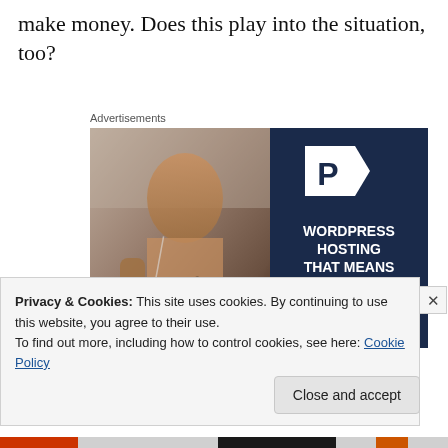make money. Does this play into the situation, too?
Advertisements
[Figure (photo): WordPress hosting advertisement banner. Left half shows a smiling woman holding an OPEN sign. Right half has dark navy background with a P logo and text: WORDPRESS HOSTING THAT MEANS BUSINESS.]
Privacy & Cookies: This site uses cookies. By continuing to use this website, you agree to their use.
To find out more, including how to control cookies, see here: Cookie Policy